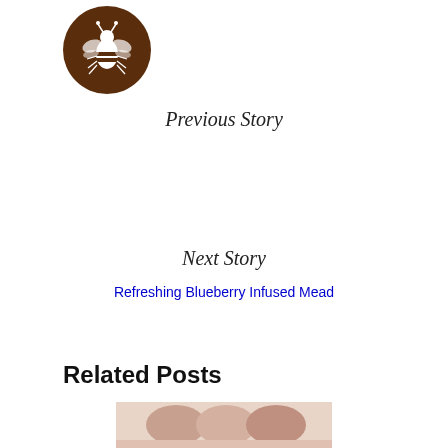[Figure (logo): Circular brown logo with a white bee illustration in the center]
Previous Story
Refreshing Blueberry Infused Mead
Next Story
Top Gluten-Free Alternatives to Beer
Related Posts
[Figure (photo): Partial photo of food items at the bottom of the page]